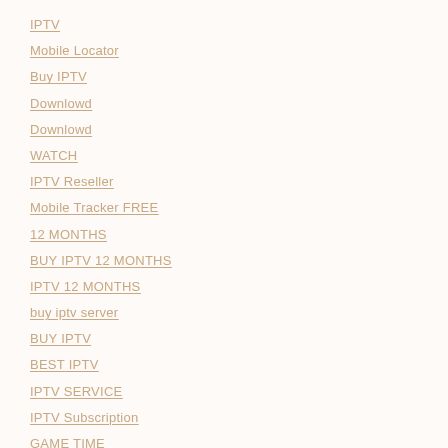IPTV
Mobile Locator
Buy IPTV
Downlowd
Downlowd
WATCH
IPTV Reseller
Mobile Tracker FREE
12 MONTHS
BUY IPTV 12 MONTHS
IPTV 12 MONTHS
buy iptv server
BUY IPTV
BEST IPTV
IPTV SERVICE
IPTV Subscription
GAME TIME
IPTV reseller